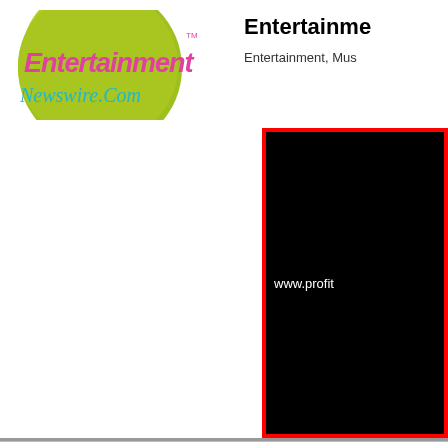[Figure (logo): Entertainment Newswire.com logo — green circle with pink 'Entertainment' text and teal cursive 'Newswire.Com' below]
Entertainme...
Entertainment, Mus...
[Figure (other): Black advertisement banner with red border showing partial URL: www.profit...]
Entertainment News
Home | Submit Press Release | Video Feeds: Entertainment | Music | DVDs...